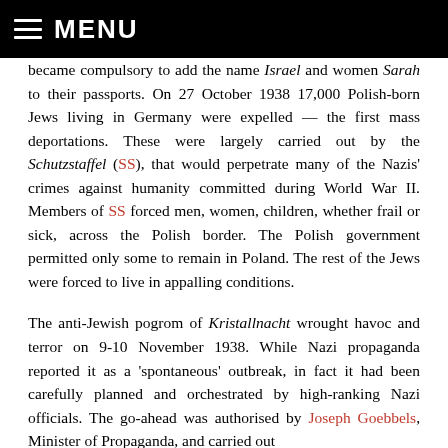MENU
became compulsory to add the name Israel and women Sarah to their passports. On 27 October 1938 17,000 Polish-born Jews living in Germany were expelled — the first mass deportations. These were largely carried out by the Schutzstaffel (SS), that would perpetrate many of the Nazis' crimes against humanity committed during World War II. Members of SS forced men, women, children, whether frail or sick, across the Polish border. The Polish government permitted only some to remain in Poland. The rest of the Jews were forced to live in appalling conditions.
The anti-Jewish pogrom of Kristallnacht wrought havoc and terror on 9-10 November 1938. While Nazi propaganda reported it as a 'spontaneous' outbreak, in fact it had been carefully planned and orchestrated by high-ranking Nazi officials. The go-ahead was authorised by Joseph Goebbels, Minister of Propaganda, and carried out